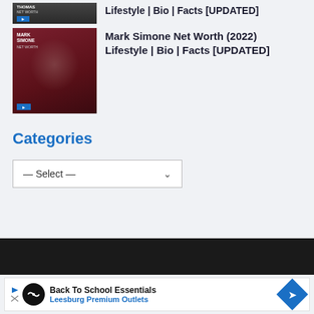[Figure (photo): Partial thumbnail image (cropped at top) for a net worth article, dark background with a person]
Lifestyle | Bio | Facts [UPDATED]
[Figure (photo): Thumbnail image of Mark Simone, smiling man in suit against dark red background, with 'MARK SIMONE NET WORTH' text overlay]
Mark Simone Net Worth (2022) Lifestyle | Bio | Facts [UPDATED]
Categories
— Select —
[Figure (screenshot): Advertisement banner: Back To School Essentials - Leesburg Premium Outlets]